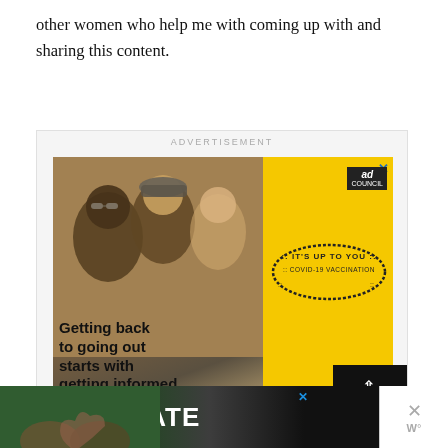other women who help me with coming up with and sharing this content.
[Figure (photo): Advertisement banner: COVID-19 vaccination Ad Council ad. Shows group of friends laughing outdoors on yellow background. Text reads 'Getting back to going out starts with getting informed.' with oval stamp 'IT'S UP TO YOU :: COVID-19 VACCINATION' and 'Get info at GetVaccineAnswers.org'. Labeled ADVERTISEMENT at top.]
[Figure (photo): Bottom banner advertisement showing 'LOVE > HATE' text on nature/hands background. Close button and W° icon visible at right.]